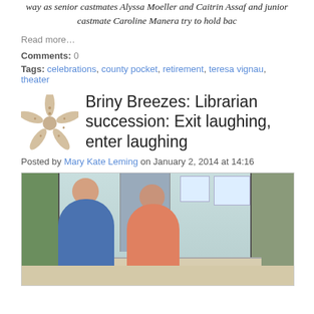way as senior castmates Alyssa Moeller and Caitrin Assaf and junior castmate Caroline Manera try to hold bac
Read more…
Comments: 0
Tags: celebrations, county pocket, retirement, teresa vignau, theater
Briny Breezes: Librarian succession: Exit laughing, enter laughing
Posted by Mary Kate Leming on January 2, 2014 at 14:16
[Figure (photo): Two women standing in a library with bookshelves behind them, smiling at the camera. One woman is wearing a blue top and the other is wearing an orange/salmon patterned top.]